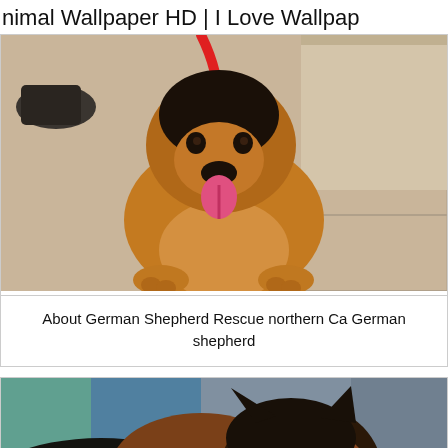nimal Wallpaper HD | I Love Wallpap
[Figure (photo): German Shepherd puppy sitting on a tile floor, holding a red leash, tongue out, looking at camera from above]
About German Shepherd Rescue northern Ca German shepherd
[Figure (photo): Adult German Shepherd dog with dark saddle markings, looking toward camera, appears to be at a vet or shelter, with blue collar]